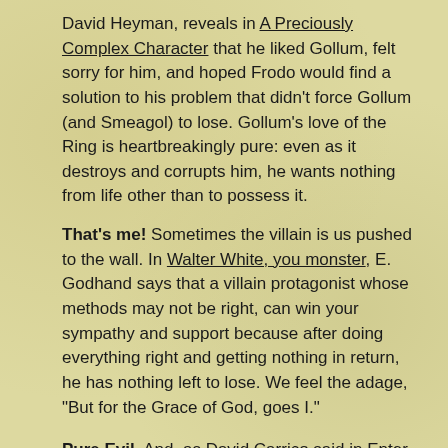David Heyman, reveals in A Preciously Complex Character that he liked Gollum, felt sorry for him, and hoped Frodo would find a solution to his problem that didn't force Gollum (and Smeagol) to lose. Gollum's love of the Ring is heartbreakingly pure: even as it destroys and corrupts him, he wants nothing from life other than to possess it.
That's me! Sometimes the villain is us pushed to the wall. In Walter White, you monster, E. Godhand says that a villain protagonist whose methods may not be right, can win your sympathy and support because after doing everything right and getting nothing in return, he has nothing left to lose. We feel the adage, "But for the Grace of God, goes I."
Pure Evil. And, as David Carrico said in Enter the Villain, Baron Vladimir Harkonnen is an absolute sadist, a pederast, and an incestophile. Pure evil works too!
A Personal Truth We Can Relate To – and it comes in all